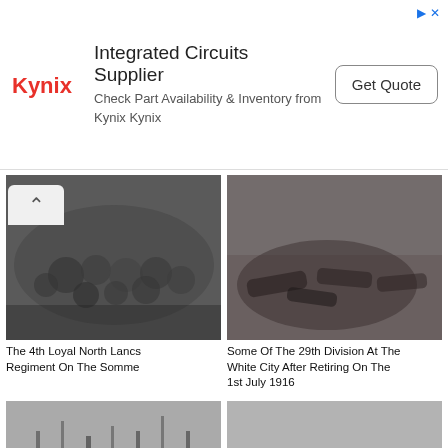[Figure (infographic): Kynix advertisement banner: Integrated Circuits Supplier, Check Part Availability & Inventory from Kynix Kynix, with Get Quote button]
[Figure (photo): Black and white photo of the 4th Loyal North Lancs Regiment on the Somme — large crowd of soldiers with helmets]
The 4th Loyal North Lancs Regiment On The Somme
[Figure (photo): Black and white photo of some of the 29th Division at the White City after retiring on the 1st July 1916 — soldiers lying and resting]
Some Of The 29th Division At The White City After Retiring On The 1st July 1916
[Figure (photo): Black and white photo of a desolate battlefield landscape with broken trees]
[Figure (photo): Black and white photo of soldiers and horses on open ground]